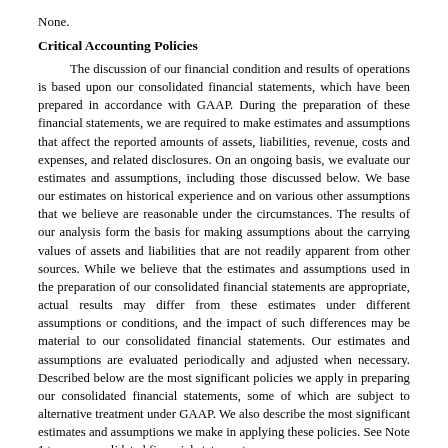None.
Critical Accounting Policies
The discussion of our financial condition and results of operations is based upon our consolidated financial statements, which have been prepared in accordance with GAAP. During the preparation of these financial statements, we are required to make estimates and assumptions that affect the reported amounts of assets, liabilities, revenue, costs and expenses, and related disclosures. On an ongoing basis, we evaluate our estimates and assumptions, including those discussed below. We base our estimates on historical experience and on various other assumptions that we believe are reasonable under the circumstances. The results of our analysis form the basis for making assumptions about the carrying values of assets and liabilities that are not readily apparent from other sources. While we believe that the estimates and assumptions used in the preparation of our consolidated financial statements are appropriate, actual results may differ from these estimates under different assumptions or conditions, and the impact of such differences may be material to our consolidated financial statements. Our estimates and assumptions are evaluated periodically and adjusted when necessary. Described below are the most significant policies we apply in preparing our consolidated financial statements, some of which are subject to alternative treatment under GAAP. We also describe the most significant estimates and assumptions we make in applying these policies. See Note 1 to our consolidated financial statements.
Segment reporting is not applicable to us as we have a single, company-wide management team that administers the Company as a whole, rather than by discrete business units. While we have three business product